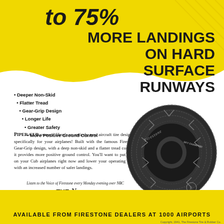to 75% MORE LANDINGS ON HARD SURFACE RUNWAYS
Deeper Non-Skid
Flatter Tread
Gear-Grip Design
Longer Life
Greater Safety
More Positive Ground Control
PIPER CUB owners! Here's an entirely new aircraft tire designed specifically for your airplanes! Built with the famous Firestone Gear-Grip design, with a deep non-skid and a flatter tread contour, it provides more positive ground control. You'll want to put these on your Cub airplanes right now and lower your operating costs with an increased number of safer landings.
Listen to the Voice of Firestone every Monday evening over NBC
[Figure (photo): Firestone Sky Champion aircraft tire, black rubber tire with deep Gear-Grip tread pattern, shown at an angle. Branding reads 'Firestone SKY CHAMPION' on the sidewall.]
THE New Firestone SKY CHAMPION TIRE
AVAILABLE FROM FIRESTONE DEALERS AT 1000 AIRPORTS
Copyright, 1941, The Firestone Tire & Rubber Co.